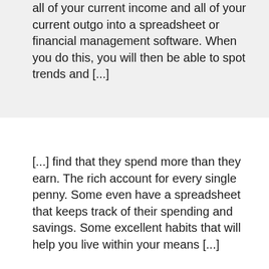all of your current income and all of your current outgo into a spreadsheet or financial management software. When you do this, you will then be able to spot trends and [...]
[...] find that they spend more than they earn. The rich account for every single penny. Some even have a spreadsheet that keeps track of their spending and savings. Some excellent habits that will help you live within your means [...]